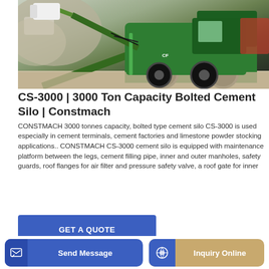[Figure (photo): Green Constmach construction machine (cement silo loader/mixer) on gravel/construction site, with arm and bucket raised, large black tires visible]
CS-3000 | 3000 Ton Capacity Bolted Cement Silo | Constmach
CONSTMACH 3000 tonnes capacity, bolted type cement silo CS-3000 is used especially in cement terminals, cement factories and limestone powder stocking applications.. CONSTMACH CS-3000 cement silo is equipped with maintenance platform between the legs, cement filling pipe, inner and outer manholes, safety guards, roof flanges for air filter and pressure safety valve, a roof gate for inner
GET A QUOTE
Send Message
Inquiry Online